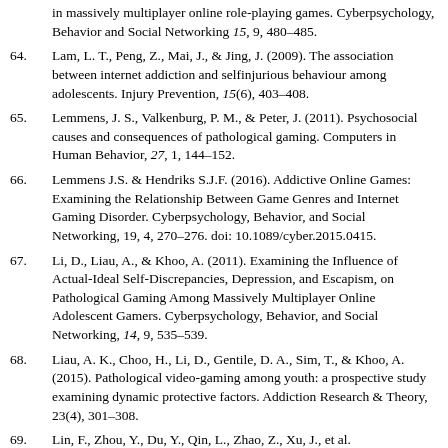in massively multiplayer online role-playing games. Cyberpsychology, Behavior and Social Networking 15, 9, 480–485.
64. Lam, L. T., Peng, Z., Mai, J., & Jing, J. (2009). The association between internet addiction and selfinjurious behaviour among adolescents. Injury Prevention, 15(6), 403–408.
65. Lemmens, J. S., Valkenburg, P. M., & Peter, J. (2011). Psychosocial causes and consequences of pathological gaming. Computers in Human Behavior, 27, 1, 144–152.
66. Lemmens J.S. & Hendriks S.J.F. (2016). Addictive Online Games: Examining the Relationship Between Game Genres and Internet Gaming Disorder. Cyberpsychology, Behavior, and Social Networking, 19, 4, 270–276. doi: 10.1089/cyber.2015.0415.
67. Li, D., Liau, A., & Khoo, A. (2011). Examining the Influence of Actual-Ideal Self-Discrepancies, Depression, and Escapism, on Pathological Gaming Among Massively Multiplayer Online Adolescent Gamers. Cyberpsychology, Behavior, and Social Networking, 14, 9, 535–539.
68. Liau, A. K., Choo, H., Li, D., Gentile, D. A., Sim, T., & Khoo, A. (2015). Pathological video-gaming among youth: a prospective study examining dynamic protective factors. Addiction Research & Theory, 23(4), 301–308.
69. Lin, F., Zhou, Y., Du, Y., Qin, L., Zhao, Z., Xu, J., et al.